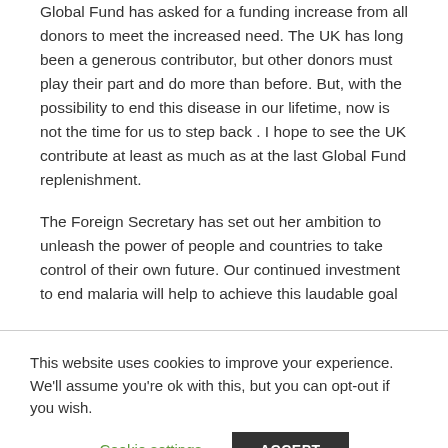The challenge of malaria is greater than ever, and the Global Fund has asked for a funding increase from all donors to meet the increased need. The UK has long been a generous contributor, but other donors must play their part and do more than before. But, with the possibility to end this disease in our lifetime, now is not the time for us to step back . I hope to see the UK contribute at least as much as at the last Global Fund replenishment.
The Foreign Secretary has set out her ambition to unleash the power of people and countries to take control of their own future. Our continued investment to end malaria will help to achieve this laudable goal
This website uses cookies to improve your experience. We'll assume you're ok with this, but you can opt-out if you wish.